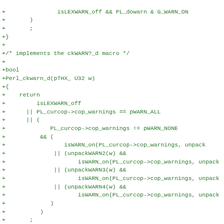[Figure (other): Code diff snippet showing C code additions (lines prefixed with +) implementing ckWARN?_d macro and Perl_ckwarn_d function, plus a comment about strlen()]